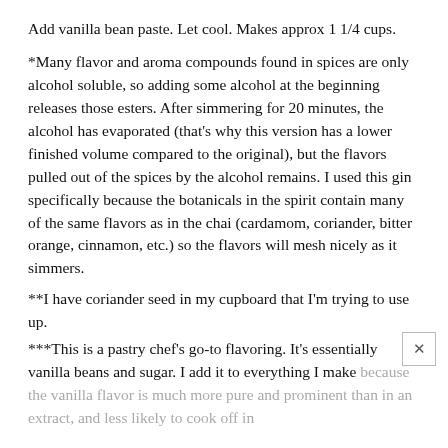Add vanilla bean paste. Let cool. Makes approx 1 1/4 cups.
*Many flavor and aroma compounds found in spices are only alcohol soluble, so adding some alcohol at the beginning releases those esters. After simmering for 20 minutes, the alcohol has evaporated (that's why this version has a lower finished volume compared to the original), but the flavors pulled out of the spices by the alcohol remains. I used this gin specifically because the botanicals in the spirit contain many of the same flavors as in the chai (cardamom, coriander, bitter orange, cinnamon, etc.) so the flavors will mesh nicely as it simmers.
**I have coriander seed in my cupboard that I'm trying to use up.
***This is a pastry chef's go-to flavoring. It's essentially vanilla beans and sugar. I add it to everything I make because the vanilla flavor is much more pure and prominent than in an extract, and less likely to cook off in cooking due to the lower alcohol. With an 18 month use by date,